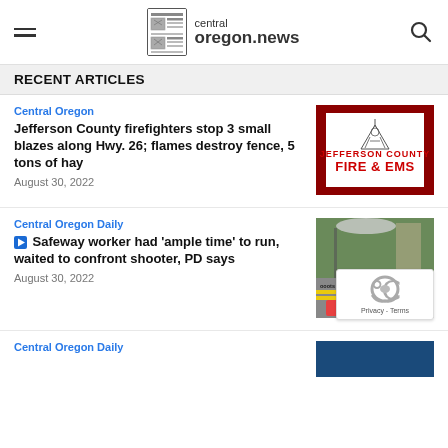central oregon.news
RECENT ARTICLES
Central Oregon
Jefferson County firefighters stop 3 small blazes along Hwy. 26; flames destroy fence, 5 tons of hay
August 30, 2022
[Figure (logo): Jefferson County Fire & EMS logo on red background]
Central Oregon Daily
▶ Safeway worker had 'ample time' to run, waited to confront shooter, PD says
August 30, 2022
[Figure (photo): Crime scene photo with yellow police tape and flowers memorial, parking lot visible]
Central Oregon Daily
[Figure (photo): Partial image of article thumbnail at bottom]